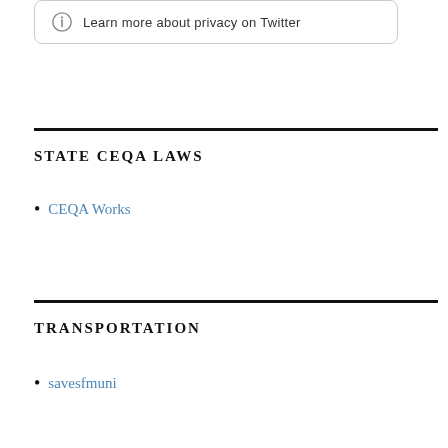Learn more about privacy on Twitter
STATE CEQA LAWS
CEQA Works
TRANSPORTATION
savesfmuni